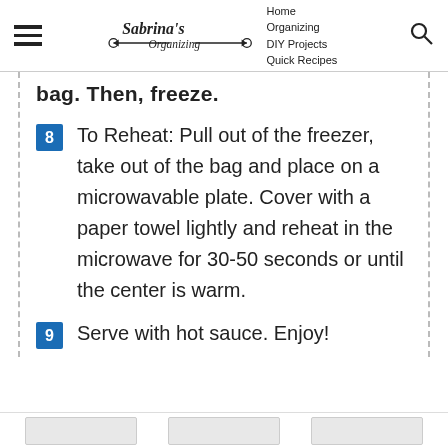Sabrina's Organizing — Home Organizing, DIY Projects, Quick Recipes
bag. Then, freeze.
8 To Reheat: Pull out of the freezer, take out of the bag and place on a microwavable plate. Cover with a paper towel lightly and reheat in the microwave for 30-50 seconds or until the center is warm.
9 Serve with hot sauce. Enjoy!